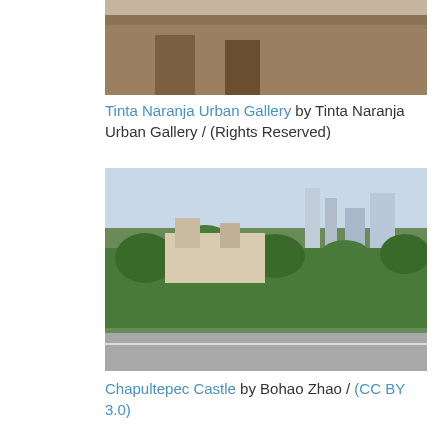[Figure (photo): Interior of Tinta Naranja Urban Gallery with framed artwork on walls]
Tinta Naranja Urban Gallery by Tinta Naranja Urban Gallery / (Rights Reserved)
[Figure (photo): Aerial view of Chapultepec Castle and surrounding green park with city skyline]
Chapultepec Castle by Bohao Zhao / (CC BY 3.0)
[Figure (photo): View of Zocalo plaza with cathedral and large open square in Mexico City]
Zocalo by Jeff Kramer / (CC BY 2.0)
[Figure (photo): Snow-dusted rocks or ruins with white powder covering stone surfaces]